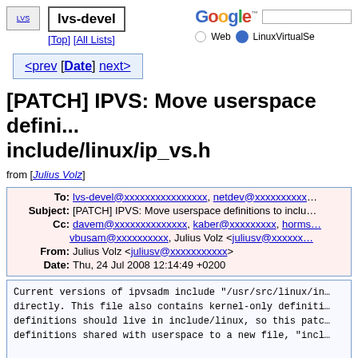LVS | lvs-devel | Google | [Top] [All Lists]
[PATCH] IPVS: Move userspace definitions to include/linux/ip_vs.h
from [Julius Volz]
| Field | Value |
| --- | --- |
| To: | lvs-devel@xxxxxxxxxxxxxxxx, netdev@xxxxxxxxxxx... |
| Subject: | [PATCH] IPVS: Move userspace definitions to inclu... |
| Cc: | davem@xxxxxxxxxxxxxx, kaber@xxxxxxxxx, horms..., vbusam@xxxxxxxxxx, Julius Volz <juliusv@xxxxxx...> |
| From: | Julius Volz <juliusv@xxxxxxxxxxx> |
| Date: | Thu, 24 Jul 2008 12:14:49 +0200 |
Current versions of ipvsadm include "/usr/src/linux/in... directly. This file also contains kernel-only definiti... definitions should live in include/linux, so this patc... definitions shared with userspace to a new file, "incl...

To make old ipvsadms still compile with this, the old